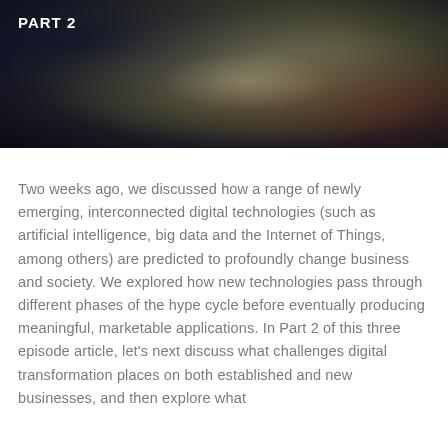[Figure (photo): Dark, moody background photo showing abstract close-up with dark blue/black tones on the left, tan/olive tones in the center, and dark reddish tones on the right — appears to be a blurred close-up of a person or object]
PART 2
Two weeks ago, we discussed how a range of newly emerging, interconnected digital technologies (such as artificial intelligence, big data and the Internet of Things, among others) are predicted to profoundly change business and society. We explored how new technologies pass through different phases of the hype cycle before eventually producing meaningful, marketable applications. In Part 2 of this three episode article, let's next discuss what challenges digital transformation places on both established and new businesses, and then explore what